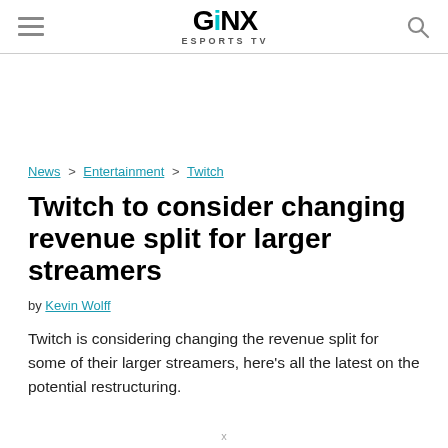GINX ESPORTS TV
News > Entertainment > Twitch
Twitch to consider changing revenue split for larger streamers
by Kevin Wolff
Twitch is considering changing the revenue split for some of their larger streamers, here's all the latest on the potential restructuring.